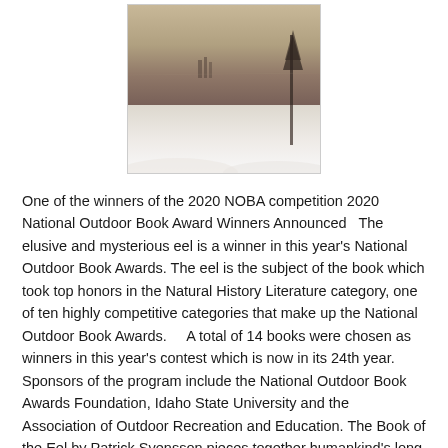[Figure (illustration): Book cover showing a snowy winter landscape scene with the author name BUDDY LEVY in spaced capital letters at the bottom of the cover image.]
One of the winners of the 2020 NOBA competition 2020 National Outdoor Book Award Winners Announced   The elusive and mysterious eel is a winner in this year's National Outdoor Book Awards. The eel is the subject of the book which took top honors in the Natural History Literature category, one of ten highly competitive categories that make up the National Outdoor Book Awards.    A total of 14 books were chosen as winners in this year's contest which is now in its 24th year. Sponsors of the program include the National Outdoor Book Awards Foundation, Idaho State University and the Association of Outdoor Recreation and Education. The Book of the Eel by Patrick Svensson pieces together humankind's long quest for knowledge about the creature, a quest that, interestingly enough, starts with Aristotle. Parts are also played by Sigmund Freud and Rachel Carson, but the star of the show is Johannes Schmidt who spends much of his life searching the world's oceans to find where...